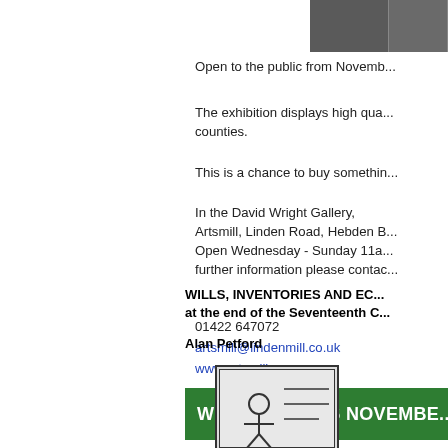[Figure (photo): Two small photographs visible at top right of the page]
Open to the public from Novemb...
The exhibition displays high qual... counties.
This is a chance to buy somethin...
In the David Wright Gallery, Artsmill, Linden Road, Hebden B... Open Wednesday - Sunday 11a... further information please contac...
01422 647072
artsmill@lindenmill.co.uk
www.artsmill.org
WEDNESDAY 26 NOVEMBE...
WILLS, INVENTORIES AND EC... at the end of the Seventeenth C...
Alan Petford
[Figure (illustration): Small illustration at bottom of page]